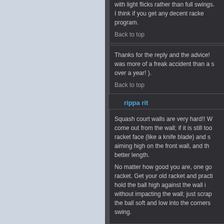with light flicks rather than full swings. I think if you get any decent racket program.
Back to top
Thanks for the reply and the advice! was more of a freak accident than a s over a year! ).
Back to top
rippa rit
Squash court walls are very hard!! W come out from the wall; if it is still too racket face (like a knife blade) and aiming high on the front wall, and th better length. No matter how good you are, one go racket. Get your old racket and practi hold the ball high against the wall i without impacting the wall; just scrap the ball soft and low into the corners swing.